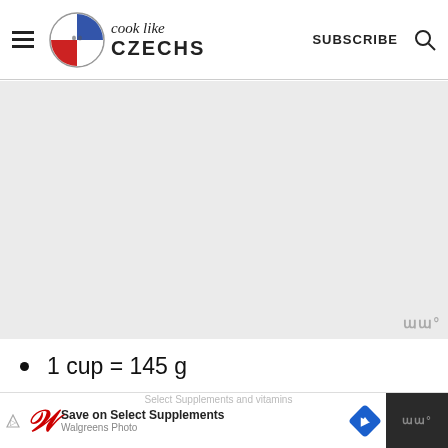cook like CZECHS — SUBSCRIBE
[Figure (logo): Cook Like Czechs website logo with circular emblem and text]
[Figure (photo): Gray advertisement/placeholder area]
1 cup = 145 g
½ cup = 72,5 g
¼ cup = 48 g (partially visible)
[Figure (screenshot): Walgreens advertisement banner at bottom: Save on Select Supplements]